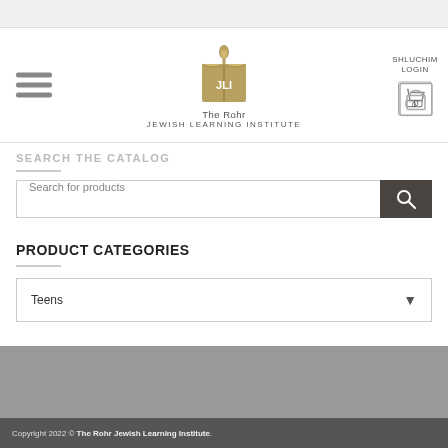The Rohr JEWISH LEARNING INSTITUTE
SHLUCHIM LOGIN
SEARCH THE CATALOG
Search for products
PRODUCT CATEGORIES
Teens
Copyright 2022 © The Rohr Jewish Learning Institute.